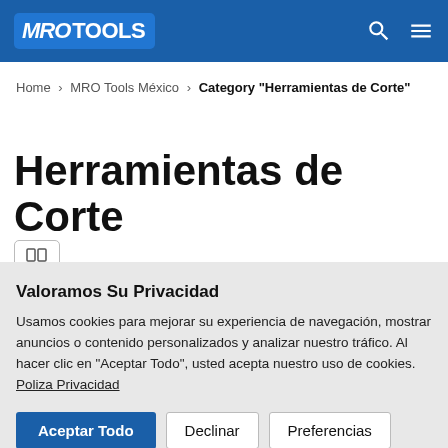MRO TOOLS
Home > MRO Tools México > Category "Herramientas de Corte"
Herramientas de Corte
Valoramos Su Privacidad
Usamos cookies para mejorar su experiencia de navegación, mostrar anuncios o contenido personalizados y analizar nuestro tráfico. Al hacer clic en "Aceptar Todo", usted acepta nuestro uso de cookies. Poliza Privacidad
Aceptar Todo   Declinar   Preferencias